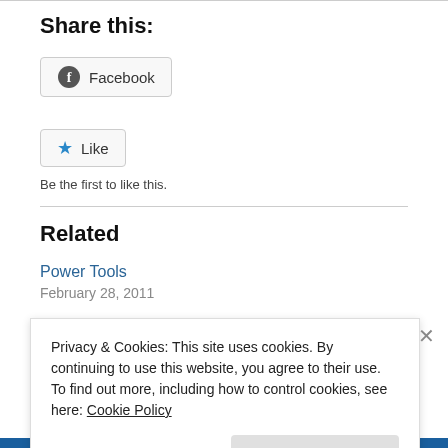Share this:
Facebook
★ Like
Be the first to like this.
Related
Power Tools
February 28, 2011
Privacy & Cookies: This site uses cookies. By continuing to use this website, you agree to their use.
To find out more, including how to control cookies, see here: Cookie Policy
Close and accept